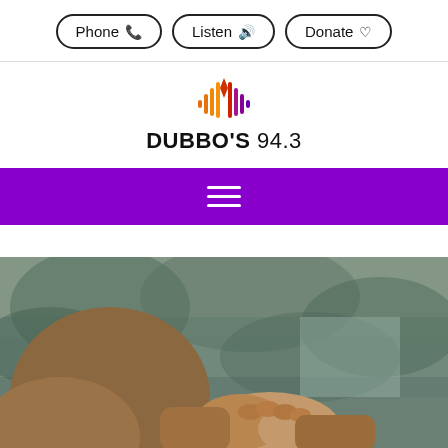[Figure (screenshot): Navigation bar with three pill-shaped buttons: Phone (with phone icon), Listen (with speaker icon), Donate (with heart icon)]
[Figure (logo): Dubbo's 94.3 radio station logo with colorful sound wave icon above bold italic text reading DUBBO'S 94.3]
[Figure (screenshot): Purple navigation bar with white hamburger menu icon (three horizontal lines)]
[Figure (photo): Person in brown/tan sweater with hands clasped together, blurred green forest background]